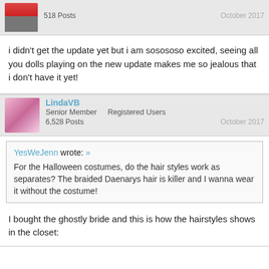518 Posts    October 2017
i didn't get the update yet but i am sosososo excited, seeing all you dolls playing on the new update makes me so jealous that i don't have it yet!
LindaVB
Senior Member   Registered Users
6,528 Posts    October 2017
YesWeJenn wrote: »
For the Halloween costumes, do the hair styles work as separates? The braided Daenarys hair is killer and I wanna wear it without the costume!
I bought the ghostly bride and this is how the hairstyles shows in the closet: